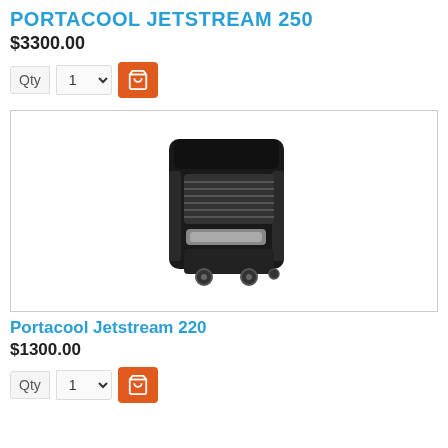PORTACOOL JETSTREAM 250
$3300.00
[Figure (screenshot): Quantity selector showing '1' with dropdown arrow and orange add-to-cart button with shopping cart icon]
[Figure (photo): Product photo of a black portable evaporative cooler (Portacool Jetstream 220) on wheels, with front vents and handle visible]
Portacool Jetstream 220
$1300.00
[Figure (screenshot): Quantity selector showing '1' with dropdown arrow and orange add-to-cart button with shopping cart icon]